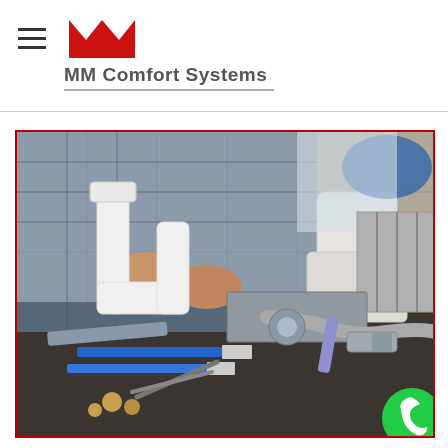MM Comfort Systems
[Figure (photo): A plumber holding a white P-trap pipe fitting, with various plumbing tools (wrenches, screwdrivers, hoses, fittings) laid out on a dark surface in the foreground. A toilet and bathroom fixtures are visible in the background.]